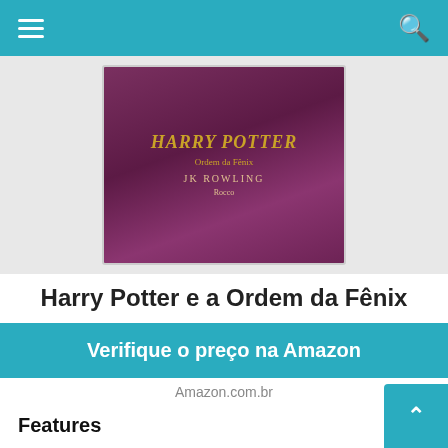≡  🔍
[Figure (photo): Photo of Harry Potter e a Ordem da Fênix book cover by JK Rowling, dark purple fabric cover with gold title lettering]
Harry Potter e a Ordem da Fênix
Verifique o preço na Amazon
Amazon.com.br
Features
Harry não é mais um garoto. Aos 15 anos, continua sofrendo a rejeição dos Dursdley, sua estranha família no mundo dos 'trouxas'. Também continua contando com Rony Weasley e Hermione Granger, seus melhores amigos em Hogwarts, para levar adiante suas investigações e aventuras. Mas o bruxinho